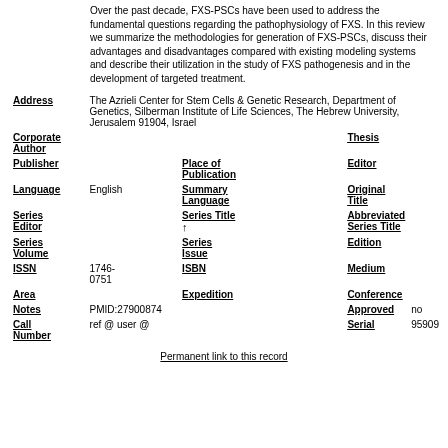Over the past decade, FXS-PSCs have been used to address the fundamental questions regarding the pathophysiology of FXS. In this review we summarize the methodologies for generation of FXS-PSCs, discuss their advantages and disadvantages compared with existing modeling systems and describe their utilization in the study of FXS pathogenesis and in the development of targeted treatment.
| Address | The Azrieli Center for Stem Cells & Genetic Research, Department of Genetics, Silberman Institute of Life Sciences, The Hebrew University, Jerusalem 91904, Israel |
| Corporate Author |  | Thesis |  |
| Publisher |  | Place of Publication |  | Editor |  |
| Language | English | Summary Language |  | Original Title |  |
| Series Editor |  | Series Title ↑ |  | Abbreviated Series Title |  |
| Series Volume |  | Series Issue |  | Edition |  |
| ISSN | 1746-0751 | ISBN |  | Medium |  |
| Area |  | Expedition |  | Conference |  |
| Notes | PMID:27900874 | Approved | no |
| Call Number | ref @ user @ | Serial | 95909 |
Permanent link to this record